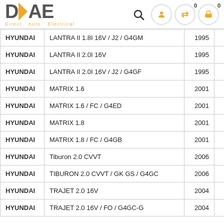[Figure (logo): DAE Direct Auto Electrical logo with orange arrow/chevron between D and A, orange tagline 'Direct Auto Electrical']
| Make | Model | Year |
| --- | --- | --- |
| HYUNDAI | LANTRA II 1.8I 16V / J2 / G4GM | 1995 |
| HYUNDAI | LANTRA II 2.0I 16V | 1995 |
| HYUNDAI | LANTRA II 2.0I 16V / J2 / G4GF | 1995 |
| HYUNDAI | MATRIX 1.6 | 2001 |
| HYUNDAI | MATRIX 1.6 / FC / G4ED | 2001 |
| HYUNDAI | MATRIX 1.8 | 2001 |
| HYUNDAI | MATRIX 1.8 / FC / G4GB | 2001 |
| HYUNDAI | Tiburon 2.0 CVVT | 2006 |
| HYUNDAI | TIBURON 2.0 CVVT / GK GS / G4GC | 2006 |
| HYUNDAI | TRAJET 2.0 16V | 2004 |
| HYUNDAI | TRAJET 2.0 16V / FO / G4GC-G | 2004 |